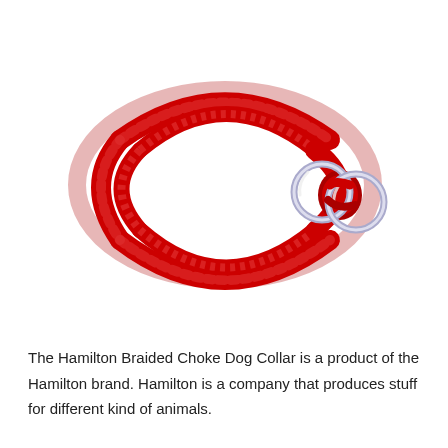[Figure (photo): A red braided choke dog collar with two silver metal rings, laid flat in an oval loop shape on a white background.]
The Hamilton Braided Choke Dog Collar is a product of the Hamilton brand. Hamilton is a company that produces stuff for different kind of animals.